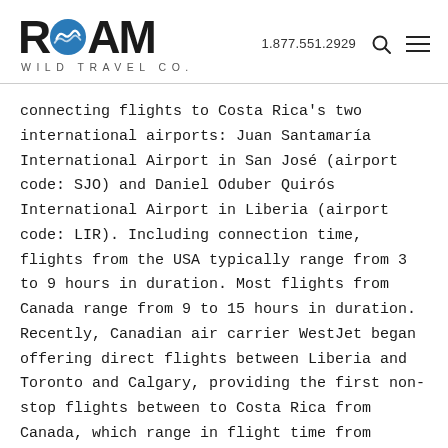[Figure (logo): Roam Wild Travel Co. logo with wave/spiral circle replacing the O in ROAM]
1.877.551.2929
connecting flights to Costa Rica's two international airports: Juan Santamaría International Airport in San José (airport code: SJO) and Daniel Oduber Quirós International Airport in Liberia (airport code: LIR). Including connection time, flights from the USA typically range from 3 to 9 hours in duration. Most flights from Canada range from 9 to 15 hours in duration. Recently, Canadian air carrier WestJet began offering direct flights between Liberia and Toronto and Calgary, providing the first non-stop flights between to Costa Rica from Canada, which range in flight time from roughly 5 to 7 hours.
From the UK: there are currently no direct flights to